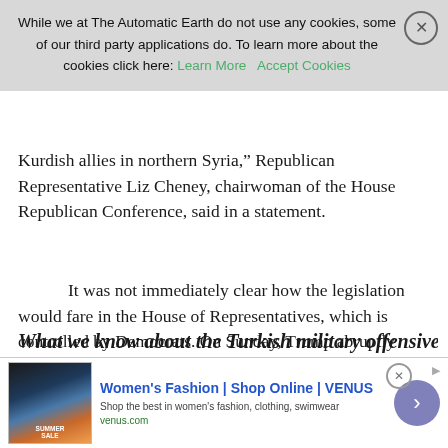While we at The Automatic Earth do not use any cookies, some of our third party applications do. To learn more about the cookies click here: Learn More  Accept Cookies
Kurdish allies in northern Syria," Republican Representative Liz Cheney, chairwoman of the House Republican Conference, said in a statement.
It was not immediately clear how the legislation would fare in the House of Representatives, which is controlled by Democrats. On Sunday, Trump abruptly shifted policy and said he was withdrawing U.S. forces from northeastern Syria, clearing the way for Turkey to launch an assault across the border. Turkey began the offensive quickly, pounding Kurdish militias, who recently were fighting alongside U.S. forces against Islamic State militants, on Wednesday and Thursday, killing dozens and forcing many thousands of people to flee.
What we know about the Turkish military offensive…
[Figure (other): Advertisement banner: Women's Fashion | Shop Online | VENUS. Shop the best in women's fashion, clothing, swimwear. venus.com]